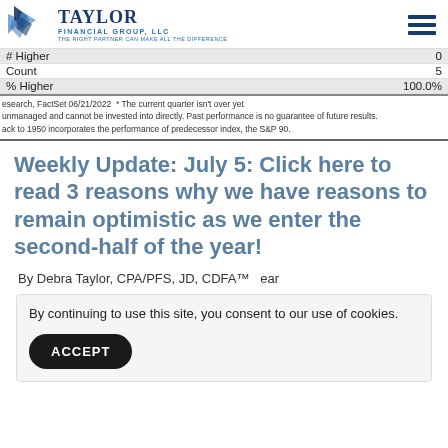[Figure (logo): Taylor Financial Group LLC logo with blue diamond/star graphic and company name]
| # Higher | 0 |
| Count | 5 |
| % Higher | 100.0% |
esearch, FactSet 06/21/2022 * The current quarter isn't over yet
unmanaged and cannot be invested into directly. Past performance is no guarantee of future results.
ack to 1950 incorporates the performance of predecessor index, the S&P 90.
Weekly Update: July 5: Click here to read 3 reasons why we have reasons to remain optimistic as we enter the second-half of the year!
By Debra Taylor, CPA/PFS, JD, CDFA™   ear
By continuing to use this site, you consent to our use of cookies.
ACCEPT